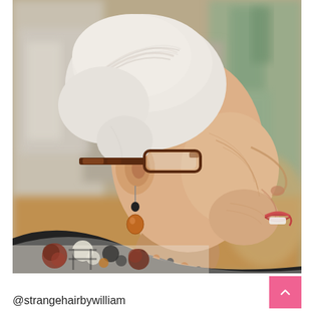[Figure (photo): Side profile photo of an elderly woman with short white/silver pixie cut hair, wearing decorative glasses with dark frames, drop earrings with amber/brown beads, a beaded necklace, and a floral patterned top in brown, white, and red. She is smiling. The background is softly blurred showing what appears to be an indoor setting.]
@strangehairbywilliam